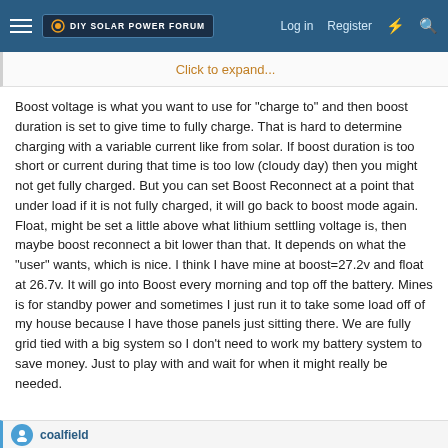DIY Solar Power Forum | Log in | Register
Click to expand...
Boost voltage is what you want to use for "charge to" and then boost duration is set to give time to fully charge. That is hard to determine charging with a variable current like from solar. If boost duration is too short or current during that time is too low (cloudy day) then you might not get fully charged. But you can set Boost Reconnect at a point that under load if it is not fully charged, it will go back to boost mode again. Float, might be set a little above what lithium settling voltage is, then maybe boost reconnect a bit lower than that. It depends on what the "user" wants, which is nice. I think I have mine at boost=27.2v and float at 26.7v. It will go into Boost every morning and top off the battery. Mines is for standby power and sometimes I just run it to take some load off of my house because I have those panels just sitting there. We are fully grid tied with a big system so I don't need to work my battery system to save money. Just to play with and wait for when it might really be needed.
coalfield